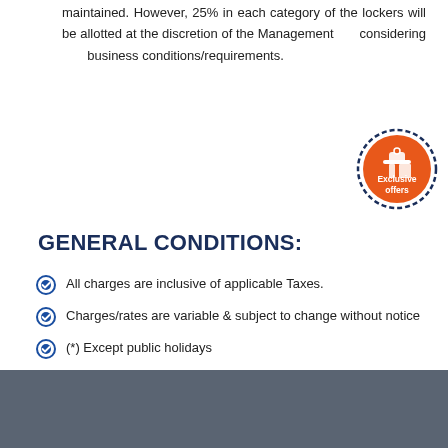maintained. However, 25% in each category of the lockers will be allotted at the discretion of the Management considering business conditions/requirements.
[Figure (illustration): Circular orange badge with gift icon and text 'Exclusive offers' in white, outlined with a dark blue dashed circle border.]
GENERAL CONDITIONS:
All charges are inclusive of applicable Taxes.
Charges/rates are variable & subject to change without notice
(*) Except public holidays
Please contact our Naranpura Branch, to open and avail Auto Vault – Safe Deposit Locker facility.